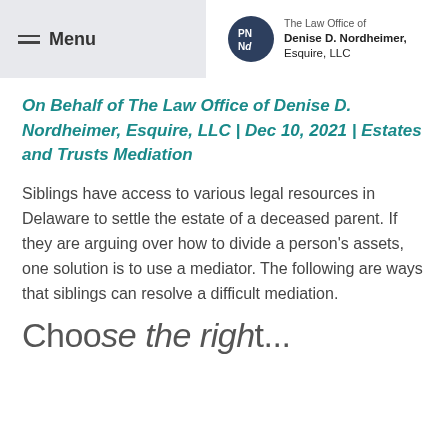Menu | The Law Office of Denise D. Nordheimer, Esquire, LLC
On Behalf of The Law Office of Denise D. Nordheimer, Esquire, LLC | Dec 10, 2021 | Estates and Trusts Mediation
Siblings have access to various legal resources in Delaware to settle the estate of a deceased parent. If they are arguing over how to divide a person's assets, one solution is to use a mediator. The following are ways that siblings can resolve a difficult mediation.
Choose the right...